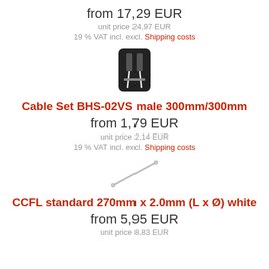from 17,29 EUR
unit price 24,97 EUR
19 % VAT incl. excl. Shipping costs
[Figure (photo): Small black connector component with white wire leads]
Cable Set BHS-02VS male 300mm/300mm
from 1,79 EUR
unit price 2,14 EUR
19 % VAT incl. excl. Shipping costs
[Figure (photo): Thin white CCFL tube / lamp on white background at a diagonal angle]
CCFL standard 270mm x 2.0mm (L x Ø) white
from 5,95 EUR
unit price 8,83 EUR